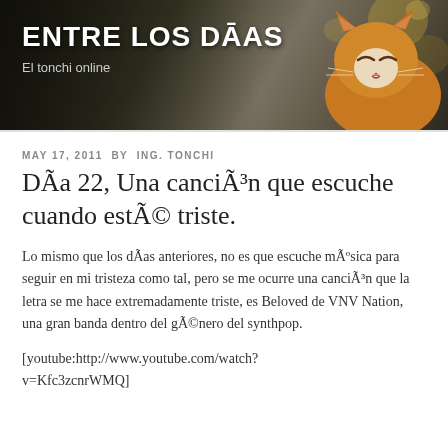ENTRE LOS DĀAS
El tonchi online
MAY 17, 2011 BY ING. TONCHI
DÃa 22, Una canciÃ³n que escuche cuando estÃ© triste.
Lo mismo que los dÃas anteriores, no es que escuche mÃºsica para seguir en mi tristeza como tal, pero se me ocurre una canciÃ³n que la letra se me hace extremadamente triste, es Beloved de VNV Nation, una gran banda dentro del gÃ©nero del synthpop.
[youtube:http://www.youtube.com/watch?v=Kfc3zcnrWMQ]